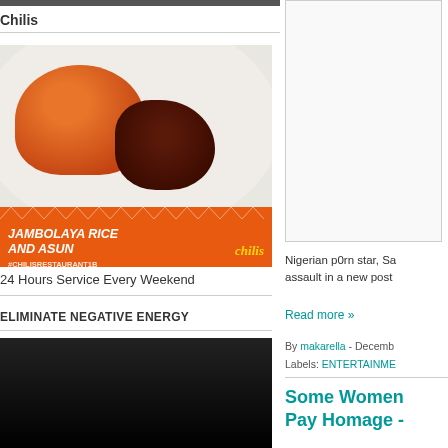Chilis
[Figure (photo): Food photo showing Jambolaya Rice and Asun on a plate with orange branded banner. Text reads JAMBOLAYA RICE AND ASUN #CHILISRESTAURANT1B with Chilis logo.]
24 Hours Service Every Weekend
ELIMINATE NEGATIVE ENERGY
[Figure (photo): Dark image, partially visible at bottom of left column.]
[Figure (other): Advertisement box on right column, white/light gray background.]
Nigerian p0rn star, Sa assault in a new post
Read more »
By makarella - Decemb
Labels: ENTERTAINME
Some Women Pay Homage -